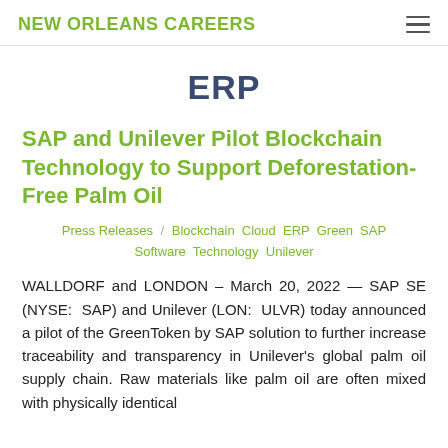NEW ORLEANS CAREERS
ERP
SAP and Unilever Pilot Blockchain Technology to Support Deforestation-Free Palm Oil
Press Releases / Blockchain Cloud ERP Green SAP Software Technology Unilever
WALLDORF and LONDON – March 20, 2022 — SAP SE (NYSE: SAP) and Unilever (LON: ULVR) today announced a pilot of the GreenToken by SAP solution to further increase traceability and transparency in Unilever's global palm oil supply chain. Raw materials like palm oil are often mixed with physically identical